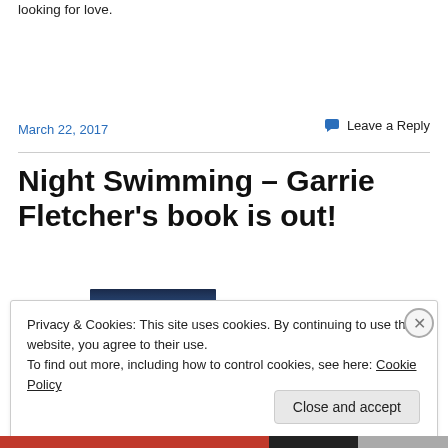looking for love.
March 22, 2017
Leave a Reply
Night Swimming – Garrie Fletcher's book is out!
Privacy & Cookies: This site uses cookies. By continuing to use this website, you agree to their use.
To find out more, including how to control cookies, see here: Cookie Policy
Close and accept